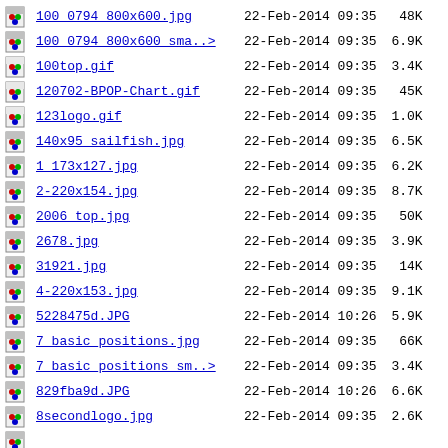100_0794_800x600.jpg  22-Feb-2014 09:35  48K
100_0794_800x600_sma..>  22-Feb-2014 09:35  6.9K
100top.gif  22-Feb-2014 09:35  3.4K
120702-BPOP-Chart.gif  22-Feb-2014 09:35  45K
123logo.gif  22-Feb-2014 09:35  1.0K
140x95_sailfish.jpg  22-Feb-2014 09:35  6.5K
1_173x127.jpg  22-Feb-2014 09:35  6.2K
2-220x154.jpg  22-Feb-2014 09:35  8.7K
2006_top.jpg  22-Feb-2014 09:35  50K
2678.jpg  22-Feb-2014 09:35  3.9K
31921.jpg  22-Feb-2014 09:35  14K
4-220x153.jpg  22-Feb-2014 09:35  9.1K
5228475d.JPG  22-Feb-2014 10:26  5.9K
7_basic_positions.jpg  22-Feb-2014 09:35  66K
7_basic_positions_sm..>  22-Feb-2014 09:35  3.4K
829fba9d.JPG  22-Feb-2014 10:26  6.6K
8secondlogo.jpg  22-Feb-2014 09:35  2.6K